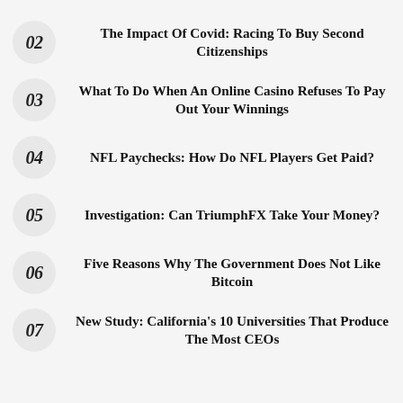02 The Impact Of Covid: Racing To Buy Second Citizenships
03 What To Do When An Online Casino Refuses To Pay Out Your Winnings
04 NFL Paychecks: How Do NFL Players Get Paid?
05 Investigation: Can TriumphFX Take Your Money?
06 Five Reasons Why The Government Does Not Like Bitcoin
07 New Study: California's 10 Universities That Produce The Most CEOs